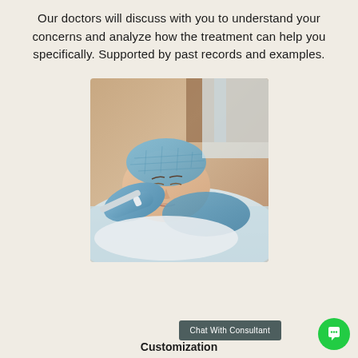Our doctors will discuss with you to understand your concerns and analyze how the treatment can help you specifically. Supported by past records and examples.
[Figure (photo): A woman lying down receiving a facial skin treatment from a medical professional wearing blue latex gloves, using a device on her face. The patient wears a blue hair net and appears relaxed with eyes closed.]
Chat With Consultant
Customization